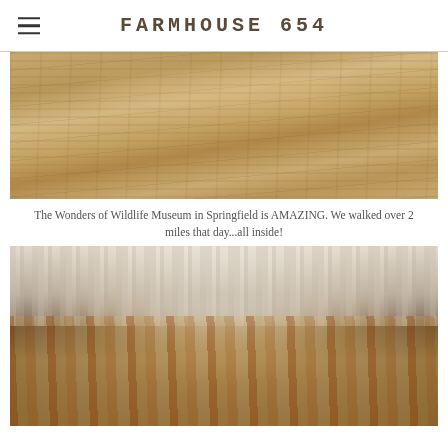FARMHOUSE 654
[Figure (photo): Close-up photo of light brown wood grain texture, showing natural grain lines and knots on a wooden surface]
The Wonders of Wildlife Museum in Springfield is AMAZING. We walked over 2 miles that day...all inside!
[Figure (photo): Interior cave photo showing stalactites hanging from the ceiling and rocky formations on the cave floor, with orange and brown rocks in the foreground]